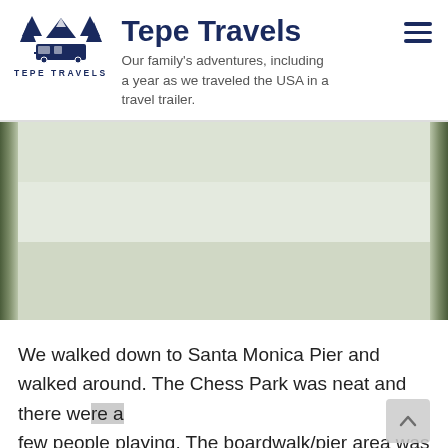Tepe Travels — Our family's adventures, including a year as we traveled the USA in a travel trailer.
[Figure (photo): Outdoor photo with greenery on sides, lighter center area, showing a park or boardwalk scene]
We walked down to Santa Monica Pier and walked around. The Chess Park was neat and there were a few people playing. The boardwalk/pier area was